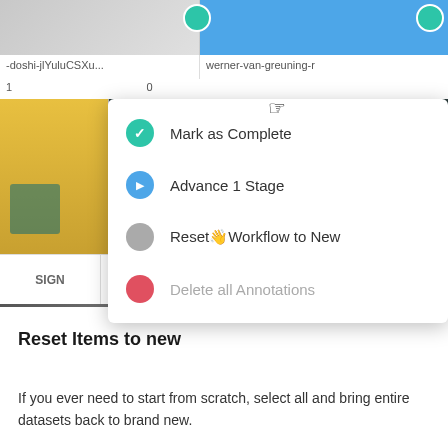[Figure (screenshot): Screenshot of a web annotation tool showing a dropdown context menu with options: Mark as Complete (green check icon), Advance 1 Stage (blue arrow icon), Reset Workflow to New (gray circle icon, cursor hovering), Delete all Annotations (red icon, grayed out). Below is a status bar showing ASSIGN | workflow STATUS | folder icon. Background shows two image thumbnails with usernames 'doshi-jlYuluCSXu...' and 'werner-van-greuning-r'.]
Reset Items to new
If you ever need to start from scratch, select all and bring entire datasets back to brand new.